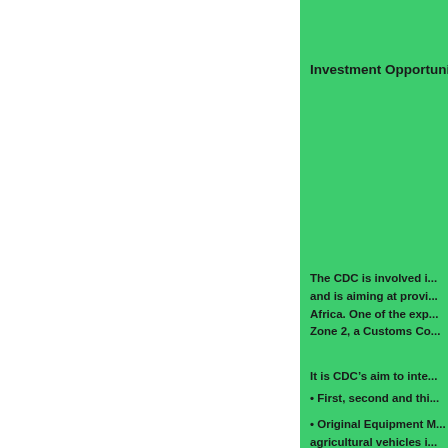Investment Opportuni...
The CDC is involved i... and is aiming at provi... Africa. One of the exp... Zone 2, a Customs Co...
It is CDC’s aim to inte...
• First, second and thi...
• Original Equipment M... agricultural vehicles i...